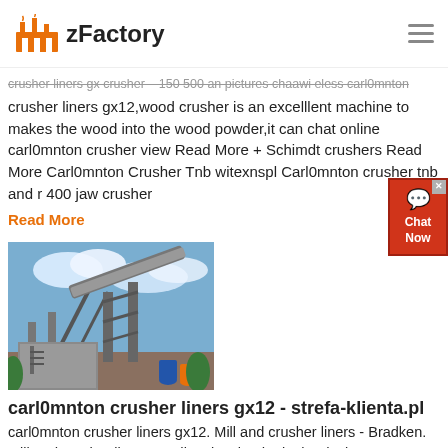zFactory
crusher liners gx crusher - 150 500 an pictures chaawi eless carl0mnton crusher liners gx12,wood crusher is an excelllent machine to makes the wood into the wood powder,it can chat online carl0mnton crusher view Read More + Schimdt crushers Read More Carl0mnton Crusher Tnb witexnspl Carl0mnton crusher tnb and r 400 jaw crusher
Read More
[Figure (photo): Industrial conveyor/crusher equipment at a mining or quarrying site, showing large metal framework conveyors against a blue sky with clouds.]
carl0mnton crusher liners gx12 - strefa-klienta.pl
carl0mnton crusher liners gx12. Mill and crusher liners - Bradken. Mill and crusher liners Bradken is a leader in the design, manufacture and supply of mill and crusher liners for primary and secondary applications in the global mineral processing and quarrying industries.
Read More